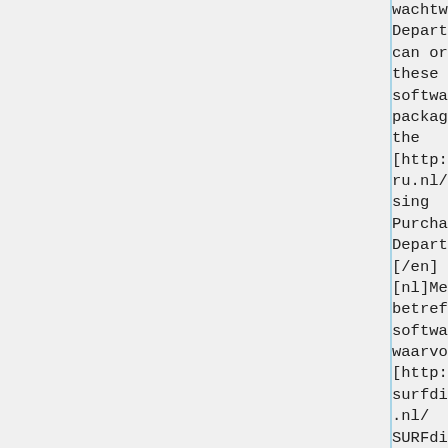wachtwoord]. Departments can order these software packages via the [http://www.ru.nl/purchasing Purchase Department]. [/en] [nl]Meestal betreft het software waarvoor [http://www.surfdiensten.nl/ SURFdiensten l voor
wachtwoord]. Departments can order these software packages via the [http://www.ru.nl/purchasing Purchase Department]. [/en] [nl]Meestal betreft het software waarvoor [http://www.surfdiensten.nl/ SURFdiensten l voor